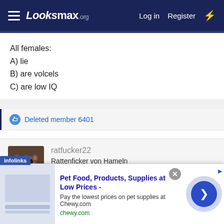Looksmax.org  Log in  Register
All females:
A) lie
B) are volcels
C) are low IQ
Deleted member 6401
ratfucker22
Rattenficker von Hameln
[Figure (other): Ad overlay: Pet Food, Products, Supplies at Low Prices - Chewy.com advertisement with infolinks badge, close button, and navigation arrow]